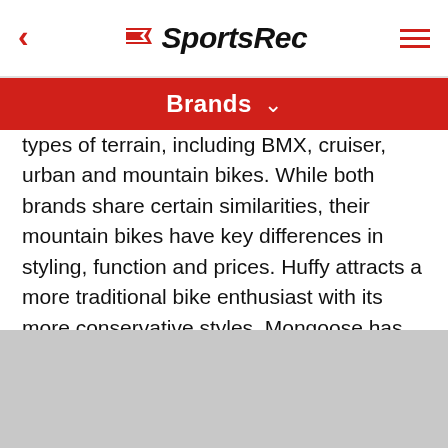SportsRec
Brands ∨
types of terrain, including BMX, cruiser, urban and mountain bikes. While both brands share certain similarities, their mountain bikes have key differences in styling, function and prices. Huffy attracts a more traditional bike enthusiast with its more conservative styles. Mongoose has focused on a more aggressive style of riding since its founding, when it only made BMX bikes.